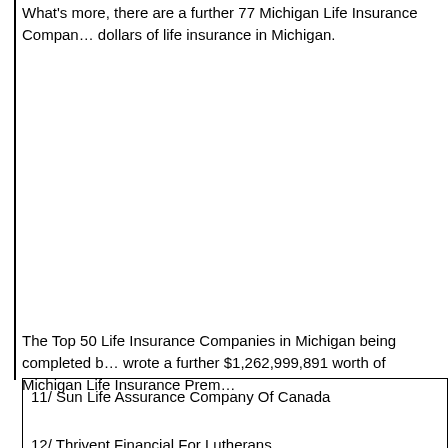What's more, there are a further 77 Michigan Life Insurance Companies that wrote billions of dollars of life insurance in Michigan.
The Top 50 Life Insurance Companies in Michigan being completed by wrote a further $1,262,999,891 worth of Michigan Life Insurance Premiums.
11/ Sun Life Assurance Company Of Canada
12/ Thrivent Financial For Lutherans